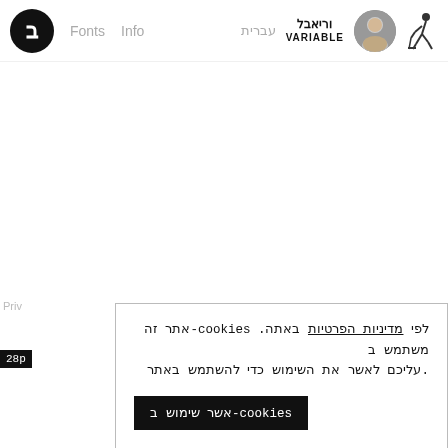ב | Fonts  Info  עברית  וריאבל VARIABLE [portrait] [walker icon]
לפי מדיניות הפרטיות באתה. cookies-אתר זה משתמש ב
עליכם לאשר את השימוש כדי להשתמש באתר.
cookies-אשר שימוש ב